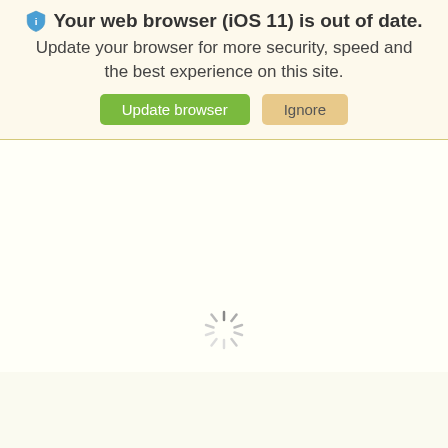[Figure (screenshot): Browser out-of-date warning banner with blue shield icon, bold title 'Your web browser (iOS 11) is out of date.', subtitle text, and two buttons: 'Update browser' (green) and 'Ignore' (tan/beige). Below the banner is a mostly blank white page with a loading spinner at the bottom center.]